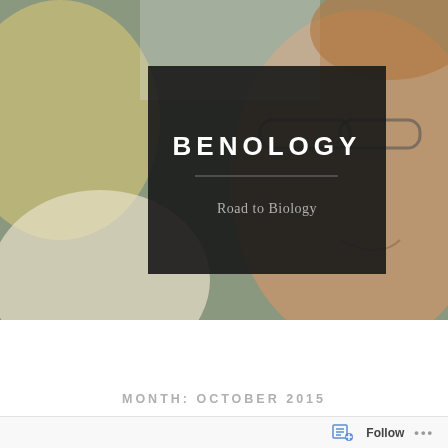[Figure (photo): Hero banner image of a person in a lab coat or gloves holding a flask/test tube, with a close-up of a smiling person wearing glasses on the right side. Dark overlay box in center-left area contains the blog title BENOLOGY and subtitle Road to Biology.]
BENOLOGY
Road to Biology
[Figure (other): Navigation bar with hamburger menu icon on the left and search (magnifying glass) icon on the right, dark background.]
MONTH: OCTOBER 2015
Follow
···